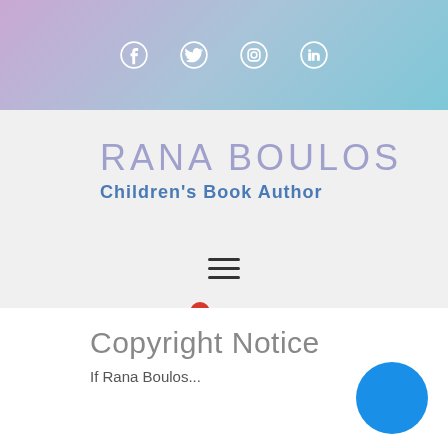Social media icons: Facebook, Twitter, Instagram, LinkedIn
RANA BOULOS
Children's Book Author
[Figure (other): Hamburger menu icon (three horizontal lines)]
[Figure (other): Shopping cart icon with red badge showing 0 items]
Copyright Notice
If Rana Boulos...